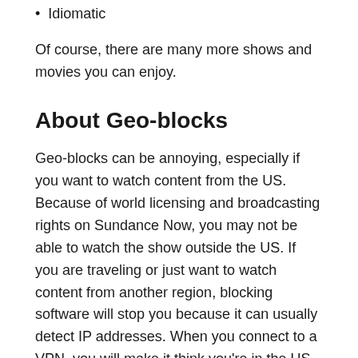Idiomatic
Of course, there are many more shows and movies you can enjoy.
About Geo-blocks
Geo-blocks can be annoying, especially if you want to watch content from the US. Because of world licensing and broadcasting rights on Sundance Now, you may not be able to watch the show outside the US. If you are traveling or just want to watch content from another region, blocking software will stop you because it can usually detect IP addresses. When you connect to a VPN, you will make it think you’re in the US. Of course, you can watch A Discovery of Witches and some of the other shows we have mentioned above.